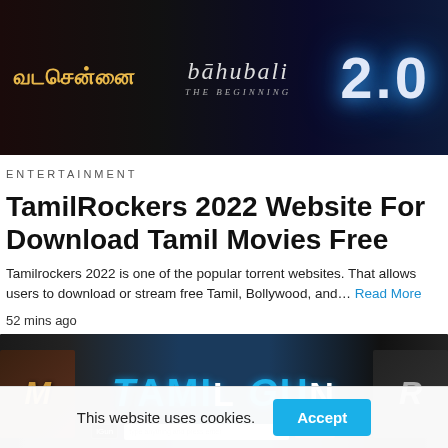[Figure (screenshot): Banner image showing movie titles: Tamil text logo, Baahubali The Beginning, and 2.0 logo on dark background]
ENTERTAINMENT
TamilRockers 2022 Website For Download Tamil Movies Free
Tamilrockers 2022 is one of the popular torrent websites. That allows users to download or stream free Tamil, Bollywood, and… Read More
52 mins ago
[Figure (screenshot): TamilGun website banner showing the TamilGun logo in blue text with actor faces on either side and a search bar at the bottom]
This website uses cookies.